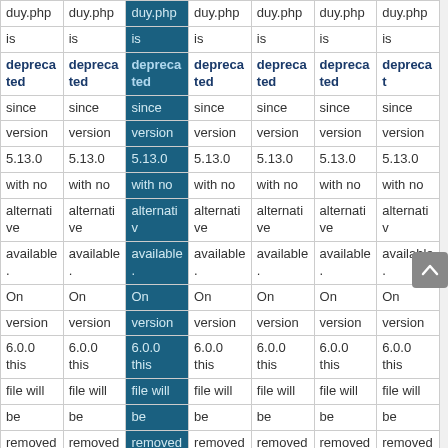| Col1 | Col2 | Col3 | Col4 | Col5 | Col6 | Col7 |
| --- | --- | --- | --- | --- | --- | --- |
| duy.php | duy.php | duy.php | duy.php | duy.php | duy.php | duy.php |
| is | is | is | is | is | is | is |
| deprecated | deprecated | deprecated | deprecated | deprecated | deprecated | deprecated |
| since | since | since | since | since | since | since |
| version | version | version | version | version | version | version |
| 5.13.0 | 5.13.0 | 5.13.0 | 5.13.0 | 5.13.0 | 5.13.0 | 5.13.0 |
| with no | with no | with no | with no | with no | with no | with no |
| alternative | alternative | alternative | alternative | alternative | alternative | alternative |
| available. | available. | available. | available. | available. | available. | available. |
| On | On | On | On | On | On | On |
| version | version | version | version | version | version | version |
| 6.0.0 this | 6.0.0 this | 6.0.0 this | 6.0.0 this | 6.0.0 this | 6.0.0 this | 6.0.0 this |
| file will | file will | file will | file will | file will | file will | file will |
| be | be | be | be | be | be | be |
| removed. | removed. | removed. | removed. | removed. | removed. | removed. |
| Please | Please | Please | Please | Please | Please | Please |
| refer to | refer to | refer to | refer to | refer to | refer to | refer to |
| https://ev | https://ev | https://ev | https://ev | https://ev | https://ev | https://ev |
| nt.is/v1- | nt.is/v1- | nt.is/v1- | nt.is/v1- | nt.is/v1- | nt.is/v1- | nt.is/v1- |